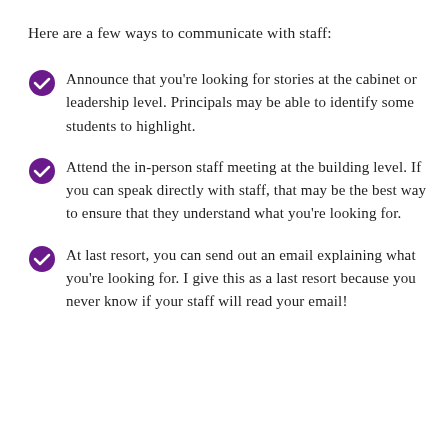Here are a few ways to communicate with staff:
Announce that you're looking for stories at the cabinet or leadership level. Principals may be able to identify some students to highlight.
Attend the in-person staff meeting at the building level. If you can speak directly with staff, that may be the best way to ensure that they understand what you're looking for.
At last resort, you can send out an email explaining what you're looking for. I give this as a last resort because you never know if your staff will read your email!